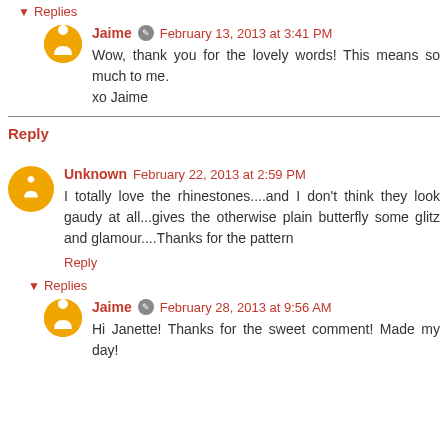▾ Replies
Jaime ✏ February 13, 2013 at 3:41 PM
Wow, thank you for the lovely words! This means so much to me.
xo Jaime
Reply
Unknown February 22, 2013 at 2:59 PM
I totally love the rhinestones....and I don't think they look gaudy at all...gives the otherwise plain butterfly some glitz and glamour....Thanks for the pattern
Reply
▾ Replies
Jaime ✏ February 28, 2013 at 9:56 AM
Hi Janette! Thanks for the sweet comment! Made my day!